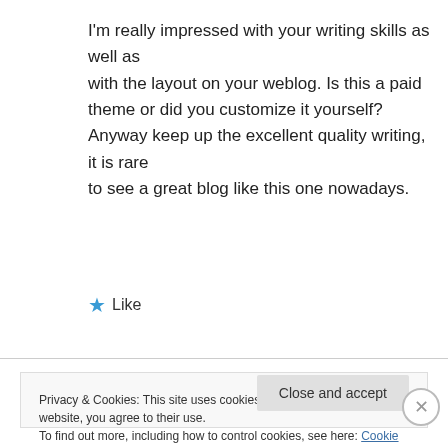I'm really impressed with your writing skills as well as with the layout on your weblog. Is this a paid theme or did you customize it yourself? Anyway keep up the excellent quality writing, it is rare to see a great blog like this one nowadays.
★ Like
Privacy & Cookies: This site uses cookies. By continuing to use this website, you agree to their use. To find out more, including how to control cookies, see here: Cookie Policy
Close and accept